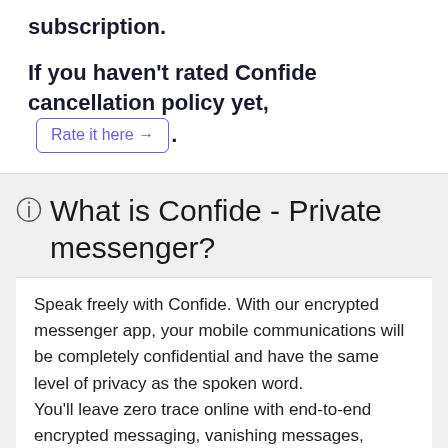subscription.
If you haven't rated Confide cancellation policy yet, Rate it here →.
ⓘ What is Confide - Private messenger?
Speak freely with Confide. With our encrypted messenger app, your mobile communications will be completely confidential and have the same level of privacy as the spoken word. You'll leave zero trace online with end-to-end encrypted messaging, vanishing messages, screenshot-proof technology, and Incognito Mode